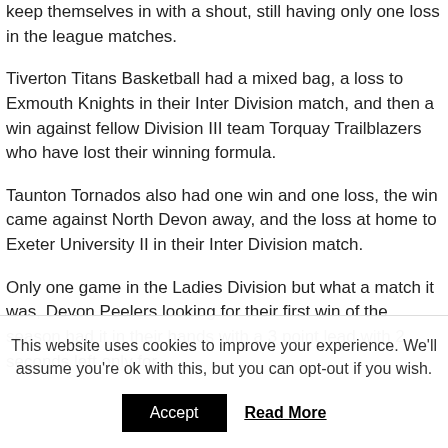keep themselves in with a shout, still having only one loss in the league matches.
Tiverton Titans Basketball had a mixed bag, a loss to Exmouth Knights in their Inter Division match, and then a win against fellow Division III team Torquay Trailblazers who have lost their winning formula.
Taunton Tornados also had one win and one loss, the win came against North Devon away, and the loss at home to Exeter University II in their Inter Division match.
Only one game in the Ladies Division but what a match it was, Devon Peelers looking for their first win of the season had it in their hands with a 3 point lead with 2 seconds left only for
This website uses cookies to improve your experience. We'll assume you're ok with this, but you can opt-out if you wish.
Accept
Read More